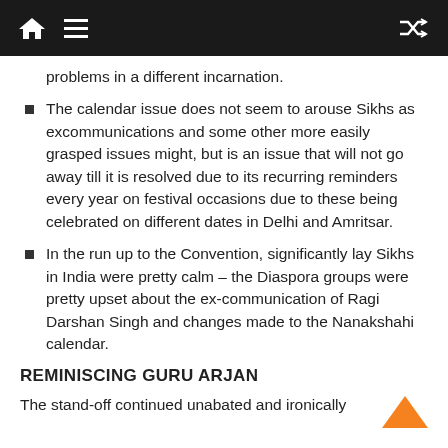Navigation bar with home, menu, and shuffle icons
problems in a different incarnation.
The calendar issue does not seem to arouse Sikhs as excommunications and some other more easily grasped issues might, but is an issue that will not go away till it is resolved due to its recurring reminders every year on festival occasions due to these being celebrated on different dates in Delhi and Amritsar.
In the run up to the Convention, significantly lay Sikhs in India were pretty calm – the Diaspora groups were pretty upset about the ex-communication of Ragi Darshan Singh and changes made to the Nanakshahi calendar.
REMINISCING GURU ARJAN
The stand-off continued unabated and ironically